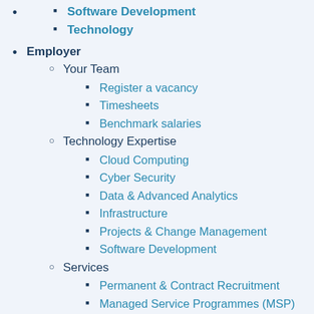Software Development
Technology
Employer
Your Team
Register a vacancy
Timesheets
Benchmark salaries
Technology Expertise
Cloud Computing
Cyber Security
Data & Advanced Analytics
Infrastructure
Projects & Change Management
Software Development
Services
Permanent & Contract Recruitment
Managed Service Programmes (MSP)
Recruitment Process Outsourcing (RPO)
Join Hays